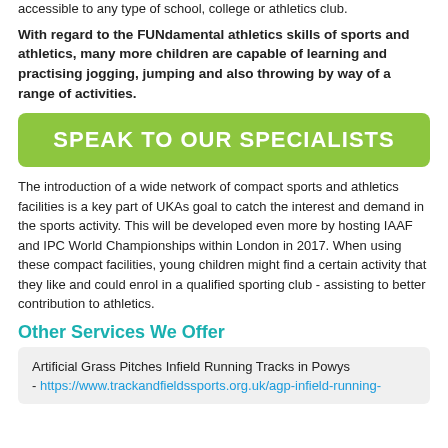accessible to any type of school, college or athletics club.
With regard to the FUNdamental athletics skills of sports and athletics, many more children are capable of learning and practising jogging, jumping and also throwing by way of a range of activities.
SPEAK TO OUR SPECIALISTS
The introduction of a wide network of compact sports and athletics facilities is a key part of UKAs goal to catch the interest and demand in the sports activity. This will be developed even more by hosting IAAF and IPC World Championships within London in 2017. When using these compact facilities, young children might find a certain activity that they like and could enrol in a qualified sporting club - assisting to better contribution to athletics.
Other Services We Offer
Artificial Grass Pitches Infield Running Tracks in Powys - https://www.trackandfieldssports.org.uk/agp-infield-running-